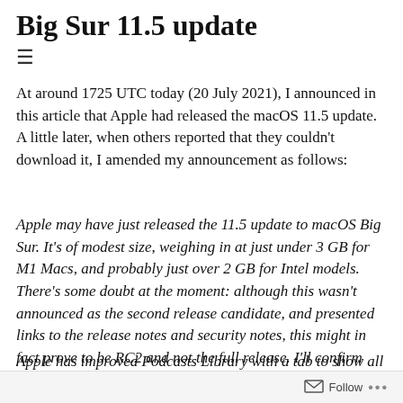Big Sur 11.5 update
At around 1725 UTC today (20 July 2021), I announced in this article that Apple had released the macOS 11.5 update. A little later, when others reported that they couldn't download it, I amended my announcement as follows:
Apple may have just released the 11.5 update to macOS Big Sur. It's of modest size, weighing in at just under 3 GB for M1 Macs, and probably just over 2 GB for Intel models. There's some doubt at the moment: although this wasn't announced as the second release candidate, and presented links to the release notes and security notes, this might in fact prove to be RC2 and not the full release. I'll confirm this as soon as I can.
Apple has improved Podcasts Library with a tab to show all shows or only those followed, and has fixed a
Follow